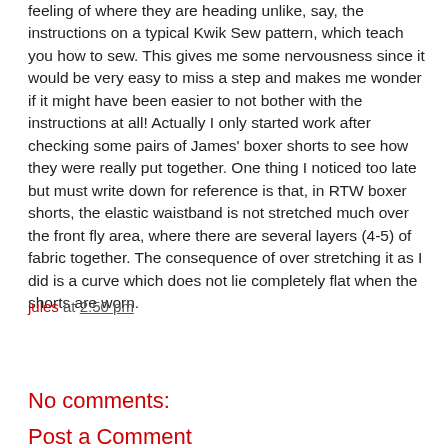feeling of where they are heading unlike, say, the instructions on a typical Kwik Sew pattern, which teach you how to sew. This gives me some nervousness since it would be very easy to miss a step and makes me wonder if it might have been easier to not bother with the instructions at all! Actually I only started work after checking some pairs of James' boxer shorts to see how they were really put together. One thing I noticed too late but must write down for reference is that, in RTW boxer shorts, the elastic waistband is not stretched much over the front fly area, where there are several layers (4-5) of fabric together. The consequence of over stretching it as I did is a curve which does not lie completely flat when the shorts are worn.
jules at 2:50 pm
Share
No comments:
Post a Comment